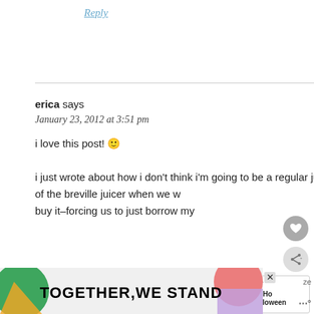Reply
erica says
January 23, 2012 at 3:51 pm
i love this post! 🙂
i just wrote about how i don't think i'm going to be a regular juice-er, and was so thankful that bed bath & beyond was sold out of the breville juicer when we w buy it–forcing us to just borrow my
[Figure (screenshot): Advertisement banner reading TOGETHER WE STAND with colorful abstract shapes]
[Figure (screenshot): What's Next widget showing Ho Ho Halloween article preview]